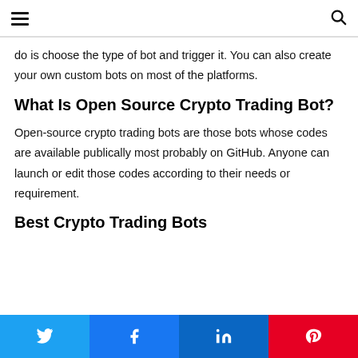[hamburger menu] [search icon]
do is choose the type of bot and trigger it. You can also create your own custom bots on most of the platforms.
What Is Open Source Crypto Trading Bot?
Open-source crypto trading bots are those bots whose codes are available publically most probably on GitHub. Anyone can launch or edit those codes according to their needs or requirement.
Best Crypto Trading Bots
[Figure (other): Social share buttons: Twitter (blue), Facebook (blue), LinkedIn (dark blue), Pinterest (red)]